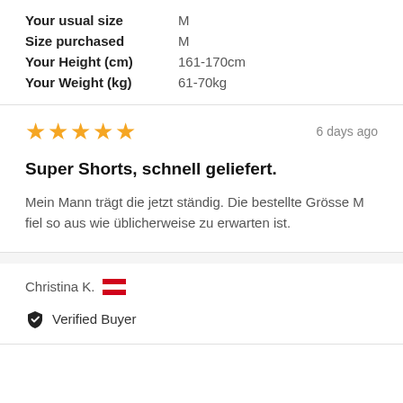Your usual size   M
Size purchased   M
Your Height (cm)   161-170cm
Your Weight (kg)   61-70kg
★★★★★   6 days ago
Super Shorts, schnell geliefert.
Mein Mann trägt die jetzt ständig. Die bestellte Grösse M fiel so aus wie üblicherweise zu erwarten ist.
Christina K. 🇦🇹
✓ Verified Buyer